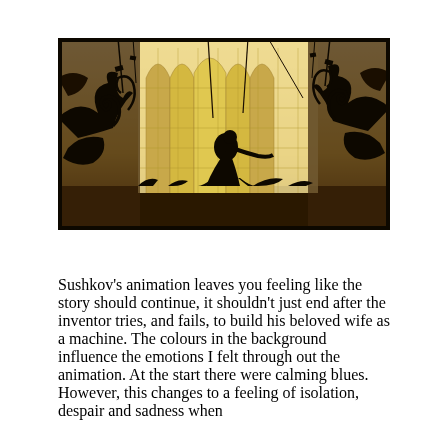[Figure (photo): A sepia-toned shadow puppet or silhouette scene showing a human figure crouched in the center, surrounded by elaborate mechanical and ornate decorative structures. A large arched, grid-patterned window glows in the background. Wires and cables hang from above, with intricate scrollwork and mechanical shapes on both sides.]
Sushkov's animation leaves you feeling like the story should continue, it shouldn't just end after the inventor tries, and fails, to build his beloved wife as a machine. The colours in the background influence the emotions I felt through out the animation. At the start there were calming blues. However, this changes to a feeling of isolation, despair and sadness when